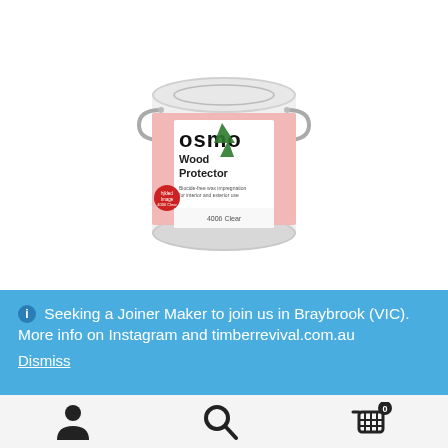[Figure (photo): Osmo Wood Protector paint can - a round metal can with pink/white label showing the Osmo logo with a green tree, product name 'Wood Protector', and text '4006 Clear']
Seeking a Joiner Maker to join us in Braybrook (VIC). More info on Instagram and timberrevival.com.au
Dismiss